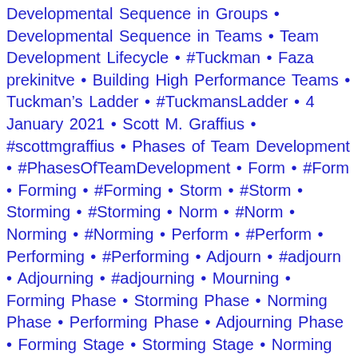Developmental Sequence in Groups • Developmental Sequence in Teams • Team Development Lifecycle • #Tuckman • Faza prekinitve • Building High Performance Teams • Tuckman's Ladder • #TuckmansLadder • 4 January 2021 • Scott M. Graffius • #scottmgraffius • Phases of Team Development • #PhasesOfTeamDevelopment • Form • #Form • Forming • #Forming • Storm • #Storm • Storming • #Storming • Norm • #Norm • Norming • #Norming • Perform • #Perform • Performing • #Performing • Adjourn • #adjourn • Adjourning • #adjourning • Mourning • Forming Phase • Storming Phase • Norming Phase • Performing Phase • Adjourning Phase • Forming Stage • Storming Stage • Norming Stage • Performing Stage • Adjourning Stage • Team Dynamcs • #TeamDynamics • team performance • #TeamPerformance • Group Dynamics • #GroupDynamics • Tuckman Model • Tuckman Visual • Tuckman graph • Tuckman illustration • Forming Storming Norming Performing • Forming Storming Norming Performing Adjourning • Five Phases of Team